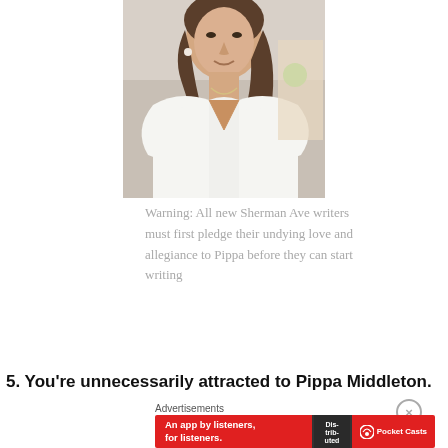[Figure (photo): Woman in white dress, upper body and face visible, light background]
Warning: All new Sherman Ave writers must first pledge their undying love and allegiance to Pippa before they can start writing
5. You're unnecessarily attracted to Pippa Middleton.
Advertisements
[Figure (photo): Pocket Casts advertisement banner - An app by listeners, for listeners.]